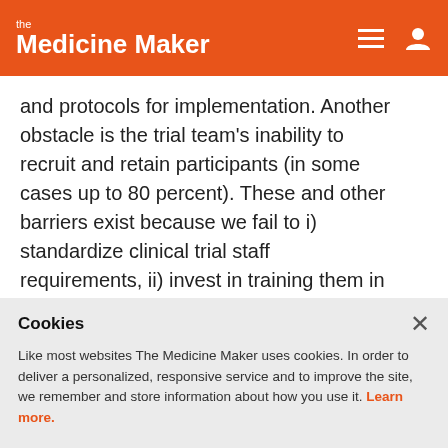the Medicine Maker
and protocols for implementation. Another obstacle is the trial team's inability to recruit and retain participants (in some cases up to 80 percent). These and other barriers exist because we fail to i) standardize clinical trial staff requirements, ii) invest in training them in the intricacies of clinical trial conduct, and iii) design inclusive, equitable recruitment plans.
Equal access to participate in a clinical trial does
Cookies
Like most websites The Medicine Maker uses cookies. In order to deliver a personalized, responsive service and to improve the site, we remember and store information about how you use it. Learn more.